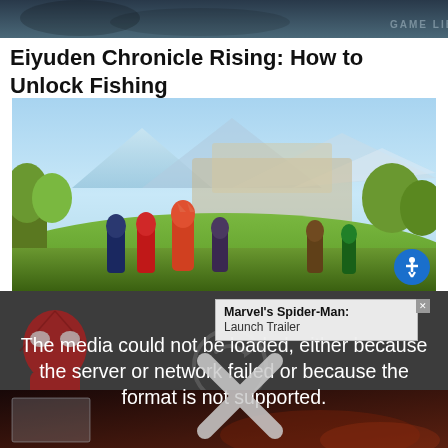[Figure (screenshot): Dark rocky landscape screenshot with watermark text at bottom right]
Eiyuden Chronicle Rising: How to Unlock Fishing
[Figure (screenshot): Colorful game screenshot of Eiyuden Chronicle Rising showing characters in a lush landscape with mountains and greenery, accessibility button visible]
[Figure (screenshot): Video player error overlay showing message: The media could not be loaded, either because the server or network failed or because the format is not supported. Overlay includes a small popup for Marvel's Spider-Man: Launch Trailer and a large X symbol.]
[Figure (screenshot): Bottom partial screenshot showing dark reddish scene with a small framed image at the lower left]